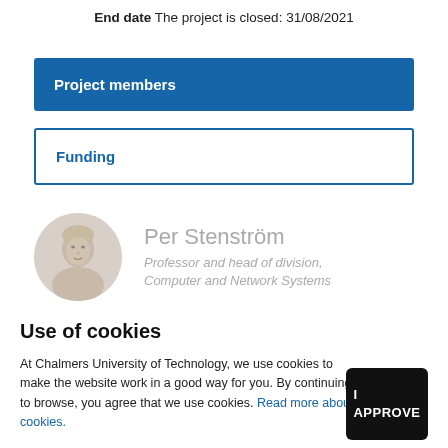End date The project is closed: 31/08/2021
Project members
Funding
[Figure (photo): Circular portrait photo of Per Stenström]
Per Stenström
Professor and head of division, Computer and Network Systems
Use of cookies
At Chalmers University of Technology, we use cookies to make the website work in a good way for you. By continuing to browse, you agree that we use cookies. Read more about cookies.
I APPROVE